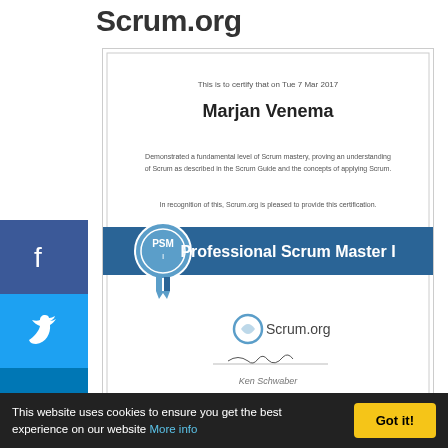Scrum.org
[Figure (illustration): Scrum.org Professional Scrum Master I certificate for Marjan Venema, dated Tue 7 Mar 2017, with PSM I badge and Scrum.org logo]
Agile Uprising Coalition
[Figure (logo): Agile Uprising logo with gears and globe, text reading Agile Uprising]
This website uses cookies to ensure you get the best experience on our website More info
Got it!